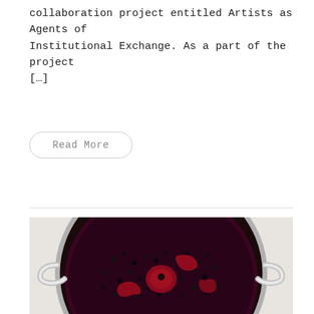collaboration project entitled Artists as Agents of Institutional Exchange. As a part of the project […]
Read More
[Figure (photo): Top-down view of a pot filled with dark berry compote or jam — small dark blueberries and red fruit slices (likely plums or nectarines) simmering in deep red-purple liquid, with silver pot handles visible on the sides, set against a white surface.]